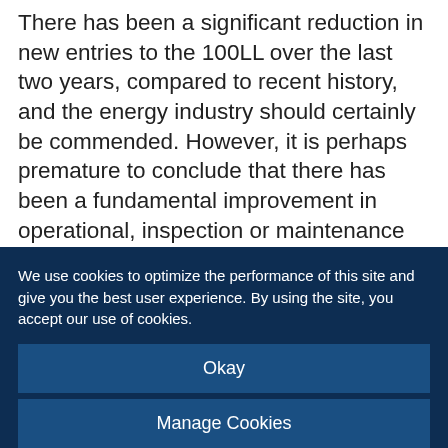There has been a significant reduction in new entries to the 100LL over the last two years, compared to recent history, and the energy industry should certainly be commended. However, it is perhaps premature to conclude that there has been a fundamental improvement in operational, inspection or maintenance practices, or overall risk management maturity, as this improved performance may be attributed, at least partly, to a decrease in site-based activity, or short-term operational measures in response to the COVID-19 pandemic. The longer-term risks
We use cookies to optimize the performance of this site and give you the best user experience. By using the site, you accept our use of cookies.
Okay
Manage Cookies